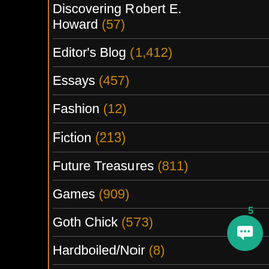Discovering Robert E. Howard (57)
Editor's Blog (1,412)
Essays (457)
Fashion (12)
Fiction (213)
Future Treasures (811)
Games (909)
Goth Chick (573)
Hardboiled/Noir (8)
Interviews (309)
Letters (9)